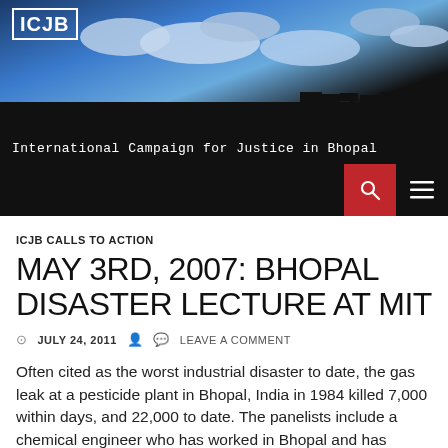[Figure (photo): Website header banner showing ICJB logo over a sky with clouds and protest silhouettes]
International Campaign for Justice in Bhopal
ICJB CALLS TO ACTION
MAY 3RD, 2007: BHOPAL DISASTER LECTURE AT MIT
JULY 24, 2011  LEAVE A COMMENT
Often cited as the worst industrial disaster to date, the gas leak at a pesticide plant in Bhopal, India in 1984 killed 7,000 within days, and 22,000 to date.  The panelists include a chemical engineer who has worked in Bhopal and has affiliations with Union Carbide and Dow Chemical, and